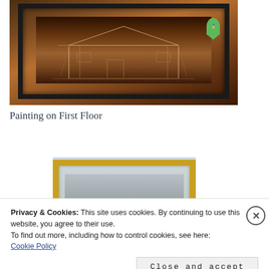[Figure (photo): A framed painting hanging on a wall showing a wooden house/dwelling in dark brownish tones. An award ribbon is visible on the wall next to the painting.]
Painting on First Floor
[Figure (photo): A second painting in a gold frame, partially visible, hanging on a light-colored wall.]
Privacy & Cookies: This site uses cookies. By continuing to use this website, you agree to their use.
To find out more, including how to control cookies, see here:
Cookie Policy
Close and accept
quizzes, and forms.